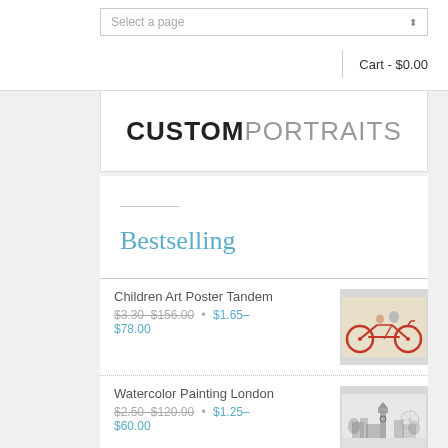Select a page
Cart - $0.00
[Figure (logo): CUSTOMPORTRAITS logo in bold black and grey text]
Bestselling
Children Art Poster Tandem
$3.30–$156.00 · $1.65–$78.00
[Figure (illustration): Children art poster showing animals riding a tandem bicycle]
Watercolor Painting London
$2.50–$120.00 · $1.25–$60.00
[Figure (illustration): Watercolor painting of London skyline with Big Ben and buildings]
Children Art Poster Books